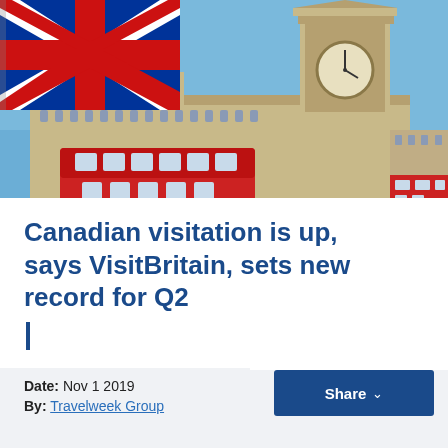[Figure (photo): Photo of London landmarks: Big Ben clock tower, Houses of Parliament, a red double-decker bus, and a Union Jack flag waving in the foreground against a blue sky.]
Canadian visitation is up, says VisitBritain, sets new record for Q2
Date: Nov 1 2019
By: Travelweek Group